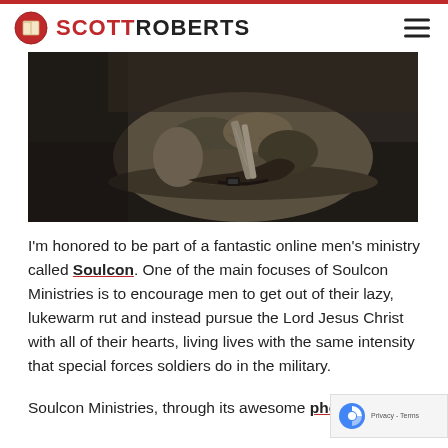SCOTT ROBERTS
[Figure (photo): Close-up photo of a military camouflage helmet with straps, resting on a dark surface.]
I'm honored to be part of a fantastic online men's ministry called Soulcon. One of the main focuses of Soulcon Ministries is to encourage men to get out of their lazy, lukewarm rut and instead pursue the Lord Jesus Christ with all of their hearts, living lives with the same intensity that special forces soldiers do in the military.
Soulcon Ministries, through its awesome phone app,